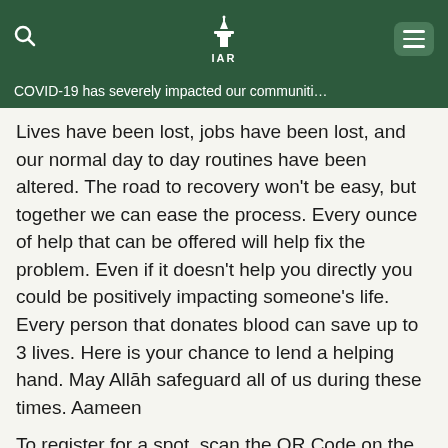COVID-19 has severely impacted our communities
Lives have been lost, jobs have been lost, and our normal day to day routines have been altered. The road to recovery won't be easy, but together we can ease the process. Every ounce of help that can be offered will help fix the problem. Even if it doesn't help you directly you could be positively impacting someone's life. Every person that donates blood can save up to 3 lives. Here is your chance to lend a helping hand. May Allāh safeguard all of us during these times. Aameen
To register for a spot, scan the QR Code on the flier below, or use this link.